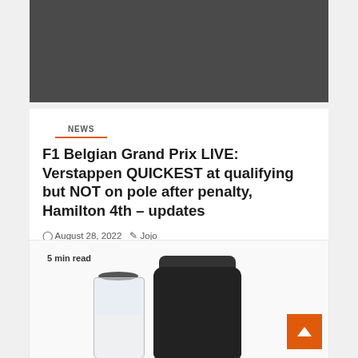[Figure (photo): Dark grey hero image banner at top of page]
NEWS
F1 Belgian Grand Prix LIVE: Verstappen QUICKEST at qualifying but NOT on pole after penalty, Hamilton 4th – updates
August 28, 2022   Jojo
[Figure (photo): Advertisement image showing a glass jar and a black Nespresso-style coffee machine with '5 min read' label. An orange back-to-top arrow button is visible in the bottom right.]